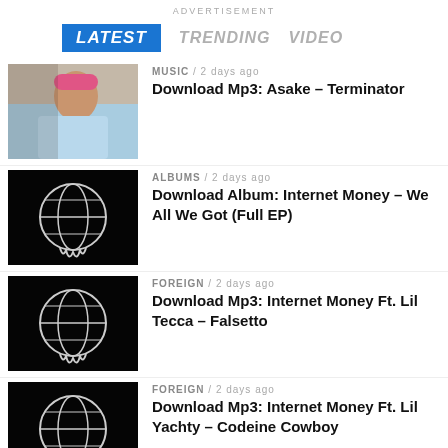ADVERTISEMENT
LATEST   TRENDING   VIDEO
MUSIC / 2 days ago
Download Mp3: Asake – Terminator
ALBUMS / 2 days ago
Download Album: Internet Money – We All We Got (Full EP)
FOREIGN / 2 days ago
Download Mp3: Internet Money Ft. Lil Tecca – Falsetto
FOREIGN / 2 days ago
Download Mp3: Internet Money Ft. Lil Yachty – Codeine Cowboy